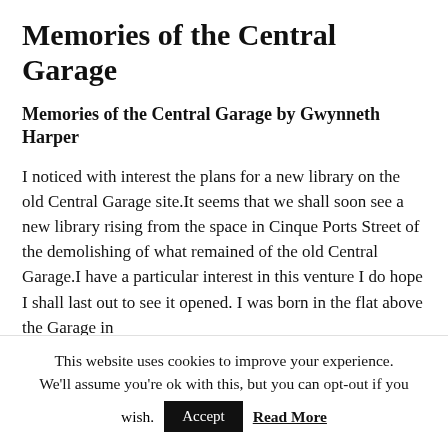Memories of the Central Garage
Memories of the Central Garage by Gwynneth Harper
I noticed with interest the plans for a new library on the old Central Garage site.It seems that we shall soon see a new library rising from the space in Cinque Ports Street of the demolishing of what remained of the old Central Garage.I have a particular interest in this venture I do hope I shall last out to see it opened. I was born in the flat above the Garage in 1926. I was so sad when it closed down.
This website uses cookies to improve your experience. We'll assume you're ok with this, but you can opt-out if you wish.  Accept  Read More